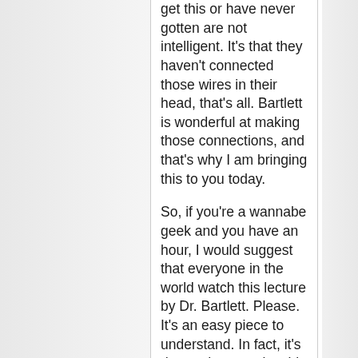get this or have never gotten are not intelligent. It's that they haven't connected those wires in their head, that's all. Bartlett is wonderful at making those connections, and that's why I am bringing this to you today.
So, if you're a wannabe geek and you have an hour, I would suggest that everyone in the world watch this lecture by Dr. Bartlett. Please. It's an easy piece to understand. In fact, it's damned near enjoyable for an arithmetic lecture.
One of the main points